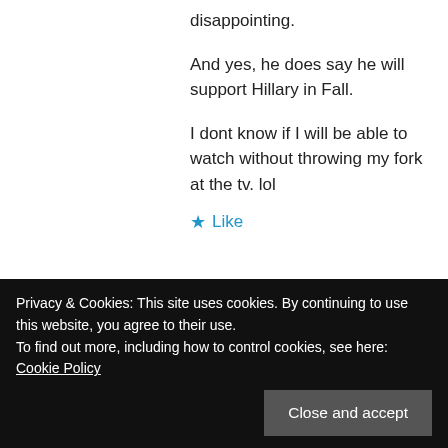disappointing.
And yes, he does say he will support Hillary in Fall.
I dont know if I will be able to watch without throwing my fork at the tv. lol
Like
Reply
sam on April 8, 2016 at 5:34 am
Sanders camp to update the talking points.
Privacy & Cookies: This site uses cookies. By continuing to use this website, you agree to their use.
To find out more, including how to control cookies, see here: Cookie Policy
Close and accept